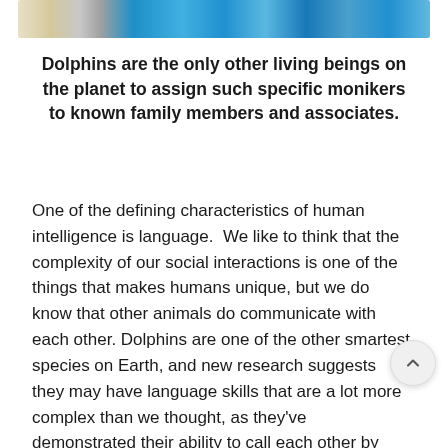[Figure (photo): Partial image of dolphins swimming in blue water, cropped at top of page]
Dolphins are the only other living beings on the planet to assign such specific monikers to known family members and associates.
One of the defining characteristics of human intelligence is language.  We like to think that the complexity of our social interactions is one of the things that makes humans unique, but we do know that other animals do communicate with each other. Dolphins are one of the other smartest species on Earth, and new research suggests they may have language skills that are a lot more complex than we thought, as they've demonstrated their ability to call each other by individual names.